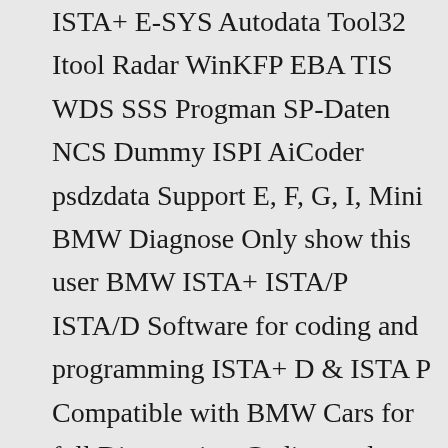ISTA+ E-SYS Autodata Tool32 Itool Radar WinKFP EBA TIS WDS SSS Progman SP-Daten NCS Dummy ISPI AiCoder psdzdata Support E, F, G, I, Mini BMW Diagnose Only show this user BMW ISTA+ ISTA/P ISTA/D Software for coding and programming ISTA+ D & ISTA P Compatible with BMW Cars for full Diagnostics, Coding and Programming New Dianogstic Tool For All BWM E31 E36